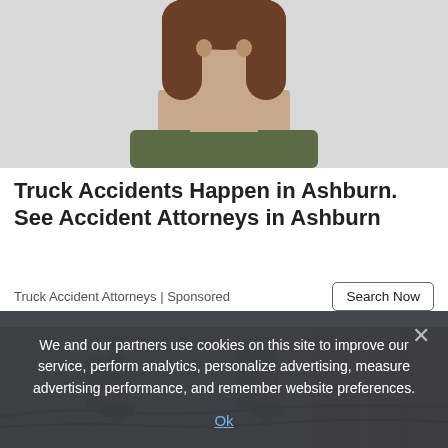[Figure (photo): Partial view of a woman with long brown hair wearing a dark green top, cropped to show face and upper body from approximately chin level, against a light gray background.]
Truck Accidents Happen in Ashburn. See Accident Attorneys in Ashburn
Truck Accident Attorneys | Sponsored
[Figure (photo): Close-up photo of industrial foundation repair equipment — hydraulic piers or piling rods with yellow and black components attached to a concrete basement wall or foundation, with cables running along the ground.]
We and our partners use cookies on this site to improve our service, perform analytics, personalize advertising, measure advertising performance, and remember website preferences.
Ok